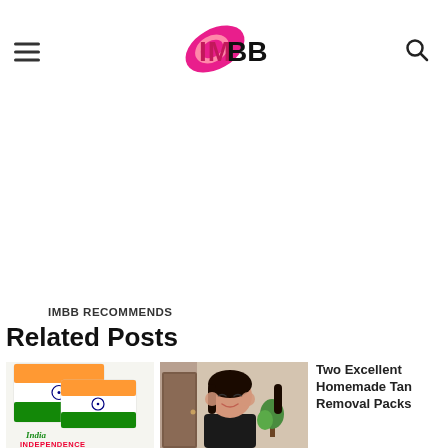IMBB (logo) with hamburger menu and search icon
[Figure (other): Blank white advertisement area]
IMBB RECOMMENDS
Related Posts
[Figure (photo): Indian Independence Day post with Indian flag (saffron, white, green tricolor)]
[Figure (photo): Young woman making OK gesture signs near her eyes, smiling]
Two Excellent Homemade Tan Removal Packs